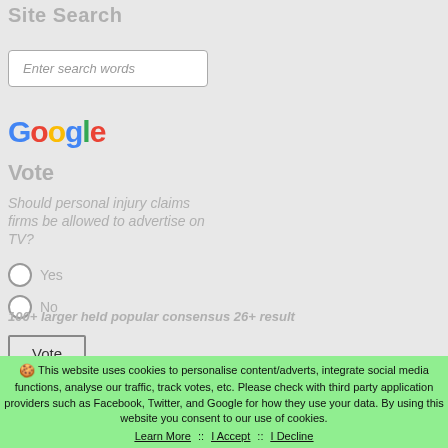Site Search
[Figure (screenshot): Search input box with placeholder text 'Enter search words']
[Figure (logo): Google logo in multicolor letters]
Vote
Should personal injury claims firms be allowed to advertise on TV?
Yes
No
[Figure (screenshot): Vote button]
100+ larger held popular consensus 26+ result
This website uses cookies to personalise content/adverts, integrate social media functions, analyse our traffic, track votes, etc. Please check with third party application providers such as Facebook, Twitter, and Google for how they use your data. By using this website you consent to our use of cookies. Learn More :: I Accept :: I Decline